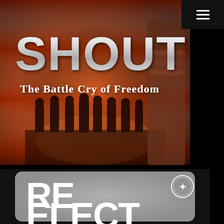[Figure (illustration): Book or movie cover image titled 'SHOUT: The Battle Cry of Freedom'. Shows silhouettes of soldiers/marching band members in smoky orange-red atmosphere with an American flag in the background and a fist holding the flag in the foreground. Large metallic silver text reads 'SHOUT' and below it 'The Battle Cry of Freedom'.]
[Figure (illustration): Partial image on grey background showing large bold white text 'RE' on the first line and 'ELECT' partially visible on the second line, with a circular logo/emblem in the upper right. Appears to be a political campaign material reading 'RE-ELECT'.]